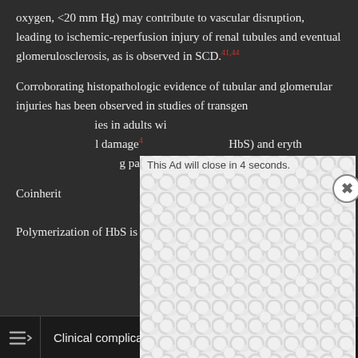oxygen, <20 mm Hg) may contribute to vascular disruption, leading to ischemic-reperfusion injury of renal tubules and eventual glomerulosclerosis, as is observed in SCD.41,44 Corroborating histopathologic evidence of tubular and glomerular injuries has been observed in studies of transgenic [sickle] mice and renal biopsies in adults with [SCD demonstrating tubulointerstitial] damage[...] [hemoglobin S (HbS) and erythrocyte [...] pathophysiology [...] proven.
Coinheritance of [...] unique insight in[...] Polymerization of HbS is highly dependent upon
[Figure (other): Advertisement overlay with bubble/organic dot pattern background in light gray. Contains countdown text 'This Ad will close in 4 seconds.' and an X close button in the upper right corner.]
Clinical complications of SCT